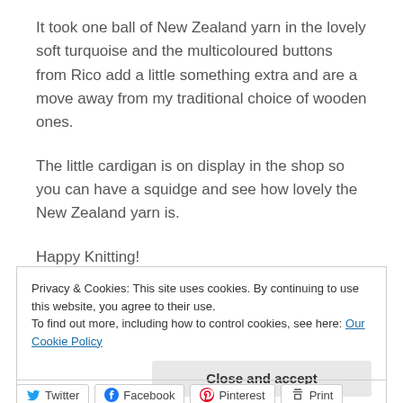It took one ball of New Zealand yarn in the lovely soft turquoise and the multicoloured buttons from Rico add a little something extra and are a move away from my traditional choice of wooden ones.
The little cardigan is on display in the shop so you can have a squidge and see how lovely the New Zealand yarn is.
Happy Knitting!
Privacy & Cookies: This site uses cookies. By continuing to use this website, you agree to their use. To find out more, including how to control cookies, see here: Our Cookie Policy
Close and accept
Twitter  Facebook  Pinterest  Print